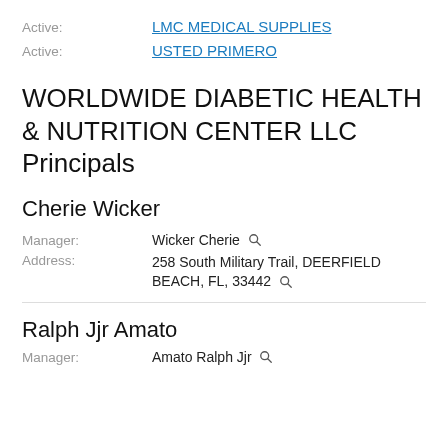Active: LMC MEDICAL SUPPLIES
Active: USTED PRIMERO
WORLDWIDE DIABETIC HEALTH & NUTRITION CENTER LLC Principals
Cherie Wicker
Manager: Wicker Cherie
Address: 258 South Military Trail, DEERFIELD BEACH, FL, 33442
Ralph Jjr Amato
Manager: Amato Ralph Jjr